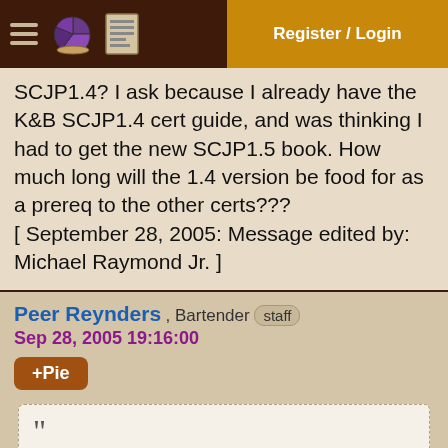Register / Login
SCJP1.4? I ask because I already have the K&B SCJP1.4 cert guide, and was thinking I had to get the new SCJP1.5 book. How much long will the 1.4 version be food for as a prereq to the other certs??? [ September 28, 2005: Message edited by: Michael Raymond Jr. ]
Peer Reynders , Bartender staff
Sep 28, 2005 19:16:00
+Pie
““ Originally posted by Michael Raymond Jr.: How much long will the 1.4 version be food for as a prereq to the other certs???
Both SUN and IBM/IBM Certified Enterprise Dev...